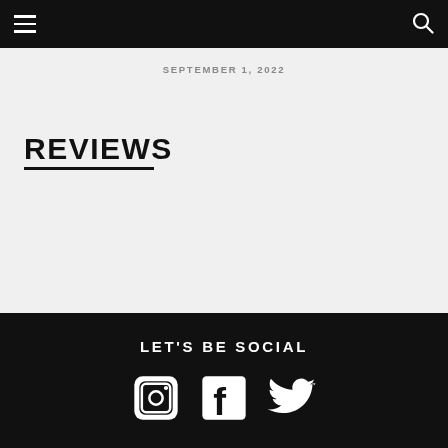SEPTEMBER 1, 2022
REVIEWS
LET'S BE SOCIAL
[Figure (illustration): Three social media icons: Instagram, Facebook, and Twitter, displayed in white on a black background.]